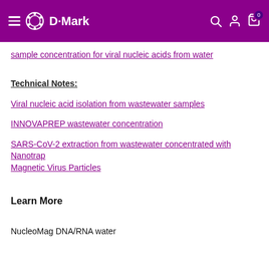D-Mark
sample concentration for viral nucleic acids from water
Technical Notes:
Viral nucleic acid isolation from wastewater samples
INNOVAPREP wastewater concentration
SARS-CoV-2 extraction from wastewater concentrated with Nanotrap Magnetic Virus Particles
Learn More
NucleoMag DNA/RNA water